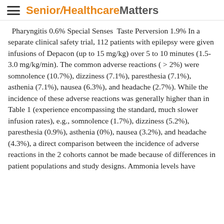Senior Healthcare Matters
Pharyngitis 0.6% Special Senses Taste Perversion 1.9% In a separate clinical safety trial, 112 patients with epilepsy were given infusions of Depacon (up to 15 mg/kg) over 5 to 10 minutes (1.5-3.0 mg/kg/min). The common adverse reactions ( > 2%) were somnolence (10.7%), dizziness (7.1%), paresthesia (7.1%), asthenia (7.1%), nausea (6.3%), and headache (2.7%). While the incidence of these adverse reactions was generally higher than in Table 1 (experience encompassing the standard, much slower infusion rates), e.g., somnolence (1.7%), dizziness (5.2%), paresthesia (0.9%), asthenia (0%), nausea (3.2%), and headache (4.3%), a direct comparison between the incidence of adverse reactions in the 2 cohorts cannot be made because of differences in patient populations and study designs. Ammonia levels have